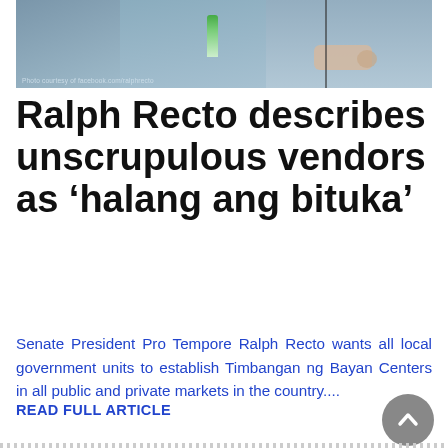[Figure (photo): Photo of people at what appears to be a government/senate hearing, with a water bottle and microphone visible. Photo courtesy of facebook.com/ralphrecto or similar.]
Ralph Recto describes unscrupulous vendors as ‘halang ang bituka’
Senate President Pro Tempore Ralph Recto wants all local government units to establish Timbangan ng Bayan Centers in all public and private markets in the country....
READ FULL ARTICLE